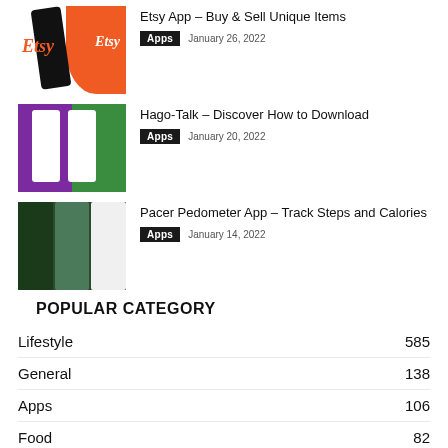[Figure (photo): Etsy app logo on phone screen with orange background]
Etsy App – Buy & Sell Unique Items
Apps  January 26, 2022
[Figure (photo): Hago-Talk app screenshots showing purple and green screens]
Hago-Talk – Discover How to Download
Apps  January 20, 2022
[Figure (photo): Pacer Pedometer app screenshots showing walking tracking and maps]
Pacer Pedometer App – Track Steps and Calories
Apps  January 14, 2022
POPULAR CATEGORY
Lifestyle  585
General  138
Apps  106
Food  82